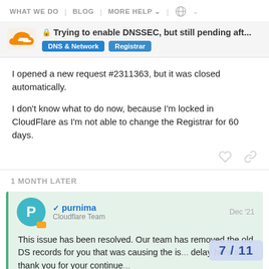WHAT WE DO | BLOG | MORE HELP | (globe)
Trying to enable DNSSEC, but still pending aft...
DNS & Network  Registrar
I opened a new request #2311363, but it was closed automatically.

I don't know what to do now, because I'm locked in CloudFlare as I'm not able to change the Registrar for 60 days.
1 MONTH LATER
purnima
Cloudflare Team
Dec '21
This issue has been resolved. Our team has removed the old DS records for you that was causing the is... delay here and thank you for your continue...
7 / 11